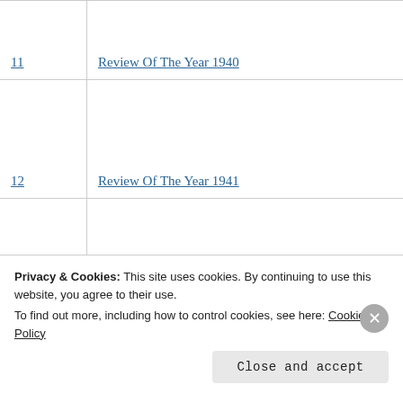| Page | Title |
| --- | --- |
| 11 | Review Of The Year 1940 |
| 12 | Review Of The Year 1941 |
| 13 | Review Of The Year – 1943 |
Privacy & Cookies: This site uses cookies. By continuing to use this website, you agree to their use.
To find out more, including how to control cookies, see here: Cookie Policy